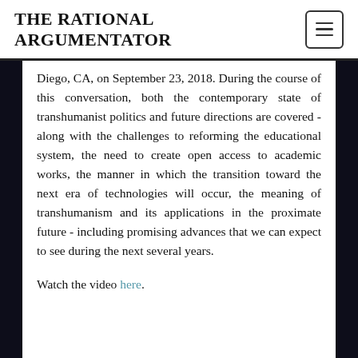THE RATIONAL ARGUMENTATOR
Diego, CA, on September 23, 2018. During the course of this conversation, both the contemporary state of transhumanist politics and future directions are covered - along with the challenges to reforming the educational system, the need to create open access to academic works, the manner in which the transition toward the next era of technologies will occur, the meaning of transhumanism and its applications in the proximate future - including promising advances that we can expect to see during the next several years.
Watch the video here.